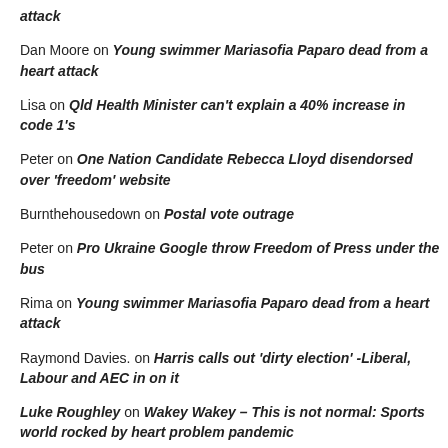attack
Dan Moore on Young swimmer Mariasofia Paparo dead from a heart attack
Lisa on Qld Health Minister can't explain a 40% increase in code 1's
Peter on One Nation Candidate Rebecca Lloyd disendorsed over 'freedom' website
Burnthehousedown on Postal vote outrage
Peter on Pro Ukraine Google throw Freedom of Press under the bus
Rima on Young swimmer Mariasofia Paparo dead from a heart attack
Raymond Davies. on Harris calls out 'dirty election' -Liberal, Labour and AEC in on it
Luke Roughley on Wakey Wakey – This is not normal: Sports world rocked by heart problem pandemic